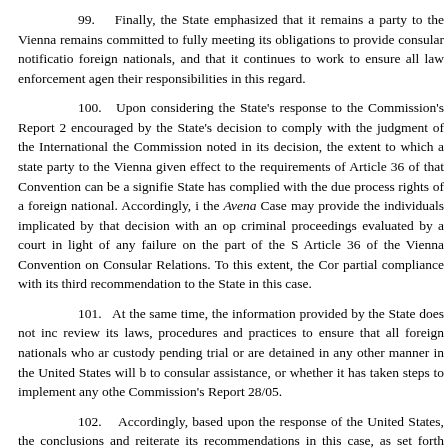99. Finally, the State emphasized that it remains a party to the Vienna remains committed to fully meeting its obligations to provide consular notification foreign nationals, and that it continues to work to ensure all law enforcement agenc their responsibilities in this regard.
100. Upon considering the State's response to the Commission's Report 2 encouraged by the State's decision to comply with the judgment of the International the Commission noted in its decision, the extent to which a state party to the Vienna given effect to the requirements of Article 36 of that Convention can be a significe State has complied with the due process rights of a foreign national. Accordingly, i the Avena Case may provide the individuals implicated by that decision with an op criminal proceedings evaluated by a court in light of any failure on the part of the S Article 36 of the Vienna Convention on Consular Relations. To this extent, the Com partial compliance with its third recommendation to the State in this case.
101. At the same time, the information provided by the State does not ind review its laws, procedures and practices to ensure that all foreign nationals who ar custody pending trial or are detained in any other manner in the United States will b to consular assistance, or whether it has taken steps to implement any othe Commission's Report 28/05.
102. Accordingly, based upon the response of the United States, the conclusions and reiterate its recommendations in this case, as set forth below.
VII. CONCLUSIONS
The Commission, based on the foregoing considerations of fact and law, co